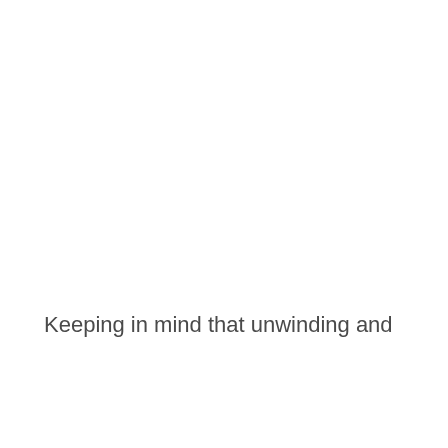Keeping in mind that unwinding and